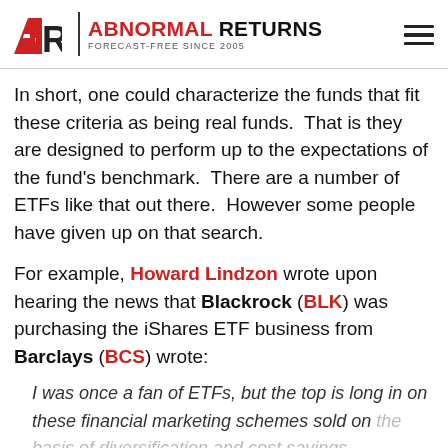ABNORMAL RETURNS — FORECAST-FREE SINCE 2005
In short, one could characterize the funds that fit these criteria as being real funds.  That is they are designed to perform up to the expectations of the fund's benchmark.  There are a number of ETFs like that out there.  However some people have given up on that search.
For example, Howard Lindzon wrote upon hearing the news that Blackrock (BLK) was purchasing the iShares ETF business from Barclays (BCS) wrote:
I was once a fan of ETFs, but the top is long in on these financial marketing schemes sold on the basis of diversification and cost savings.